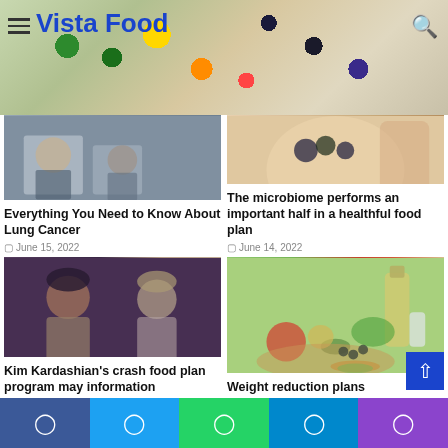Vista Food
[Figure (photo): Medical scene - lung cancer article thumbnail]
Everything You Need to Know About Lung Cancer
June 15, 2022
[Figure (photo): Food ingredients and spices - microbiome article thumbnail]
The microbiome performs an important half in a healthful food plan
June 14, 2022
[Figure (photo): Kim Kardashian and Marilyn Monroe - crash food plan article thumbnail]
Kim Kardashian's crash food plan program may information
[Figure (photo): Vegetables and oil on wooden board - weight reduction plans thumbnail]
Weight reduction plans